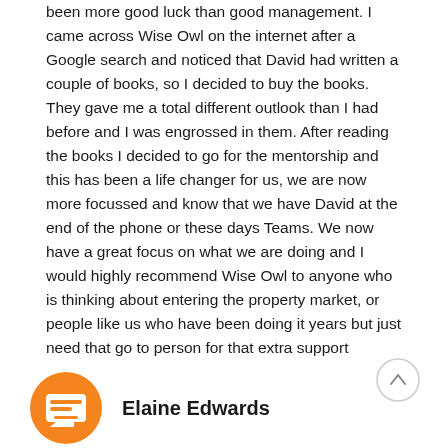been more good luck than good management. I came across Wise Owl on the internet after a Google search and noticed that David had written a couple of books, so I decided to buy the books. They gave me a total different outlook than I had before and I was engrossed in them. After reading the books I decided to go for the mentorship and this has been a life changer for us, we are now more focussed and know that we have David at the end of the phone or these days Teams. We now have a great focus on what we are doing and I would highly recommend Wise Owl to anyone who is thinking about entering the property market, or people like us who have been doing it years but just need that go to person for that extra support
[Figure (illustration): Orange circular icon with chat/message graphic]
Elaine Edwards